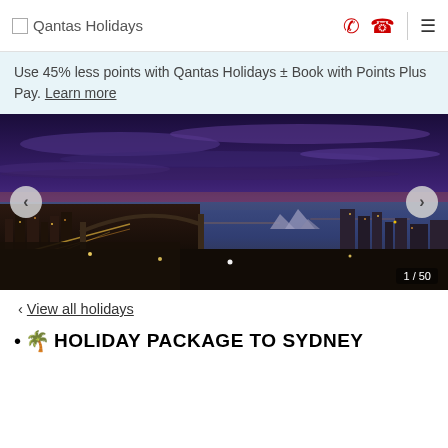Qantas Holidays
Use 45% less points with Qantas Holidays ± Book with Points Plus Pay. Learn more
[Figure (photo): Aerial night-time cityscape photo of Sydney Harbour showing the Opera House, Harbour Bridge, city lights and dramatic purple-blue sky. Slideshow navigation arrows on left and right. Counter showing 1 / 50 in bottom-right corner.]
‹ View all holidays
HOLIDAY PACKAGE TO SYDNEY